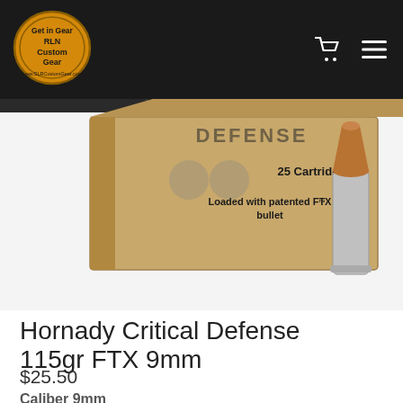Get in Gear RLN Custom Gear www.SLRCustomGear.com
[Figure (photo): Product photo of Hornady Critical Defense ammunition box (cardboard/tan color) labeled '25 Cartridges Loaded with patented FTX™ bullet' with DEFENSE branding, alongside a silver/copper 9mm FTX bullet cartridge on a white background.]
Hornady Critical Defense 115gr FTX 9mm
$25.50
Caliber 9mm
Bullet Weight 115gr FTX
Muzzle Velocity 1135
Package Quantity 25